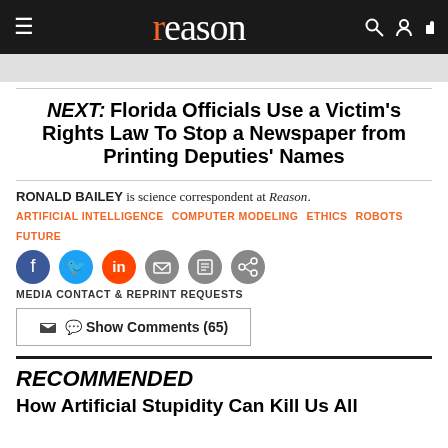reason
NEXT: Florida Officials Use a Victim's Rights Law To Stop a Newspaper from Printing Deputies' Names
RONALD BAILEY is science correspondent at Reason.
ARTIFICIAL INTELLIGENCE   COMPUTER MODELING   ETHICS   ROBOTS   FUTURE
[Figure (infographic): Social sharing icons: Facebook, Twitter, Reddit, Email, Print, Link]
MEDIA CONTACT & REPRINT REQUESTS
Show Comments (65)
RECOMMENDED
How Artificial Stupidity Can Kill Us All